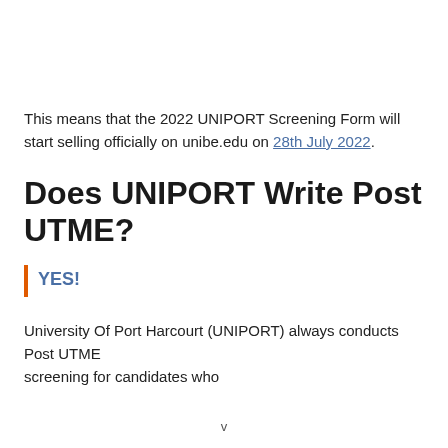This means that the 2022 UNIPORT Screening Form will start selling officially on unibe.edu on 28th July 2022.
Does UNIPORT Write Post UTME?
YES!
University Of Port Harcourt (UNIPORT) always conducts Post UTME screening for candidates who...